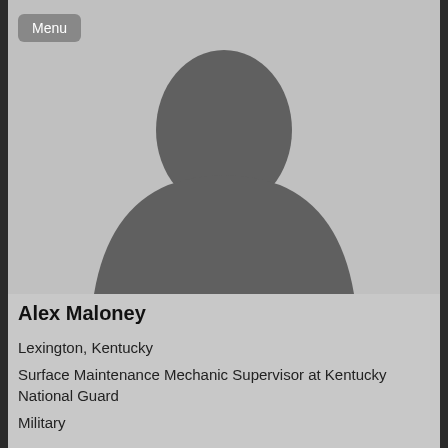[Figure (photo): Generic silhouette placeholder profile photo of a person (head and shoulders) on grey background]
Alex Maloney
Lexington, Kentucky
Surface Maintenance Mechanic Supervisor at Kentucky National Guard
Military